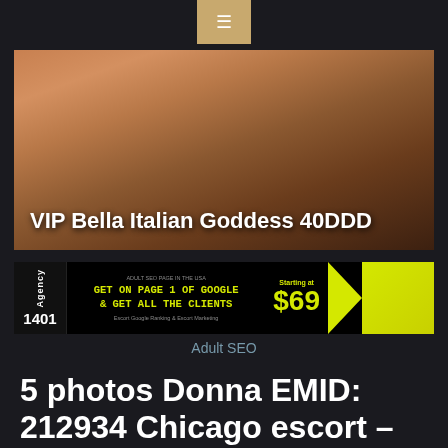[Figure (screenshot): Navigation bar with hamburger menu button in tan/gold color]
[Figure (photo): Close-up photo with overlay text: VIP Bella Italian Goddess 40DDD]
[Figure (screenshot): Advertisement banner for Agency 1401 adult SEO service, GET ON PAGE 1 OF GOOGLE & GET ALL THE CLIENTS, Starting at $69]
Adult SEO
5 photos Donna EMID: 212934 Chicago escort – 18-24 – Caucasian Escort